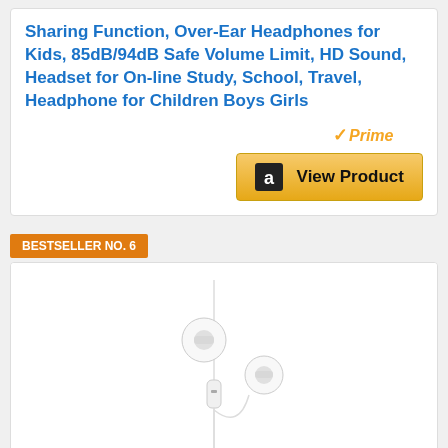Sharing Function, Over-Ear Headphones for Kids, 85dB/94dB Safe Volume Limit, HD Sound, Headset for On-line Study, School, Travel, Headphone for Children Boys Girls
[Figure (logo): Amazon Prime badge with checkmark and 'Prime' text in gold italic]
[Figure (other): Amazon 'View Product' button with Amazon logo]
BESTSELLER NO. 6
[Figure (photo): Apple EarPods white in-ear headphones with cable and inline remote, shown on white background]
Apple EarPods Headphones with